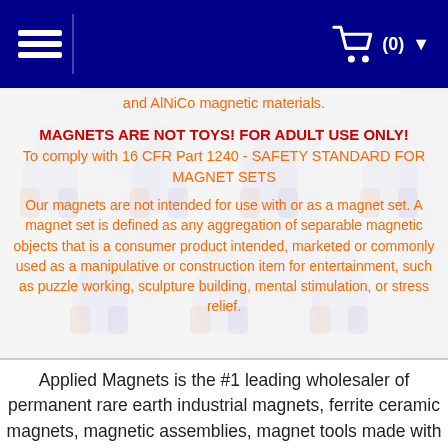(0)
and AlNiCo magnetic materials.
MAGNETS ARE NOT TOYS! FOR ADULT USE ONLY!
To comply with 16 CFR Part 1240 - SAFETY STANDARD FOR MAGNET SETS
Our magnets are not intended for use with or as a magnet set. A magnet set is defined as any aggregation of separable magnetic objects that is a consumer product intended, marketed or commonly used as a manipulative or construction item for entertainment, such as puzzle working, sculpture building, mental stimulation, or stress relief.
Applied Magnets is the #1 leading wholesaler of permanent rare earth industrial magnets, ferrite ceramic magnets, magnetic assemblies, magnet tools made with neodymium rare earth magnets, effective magnetic water treatment system